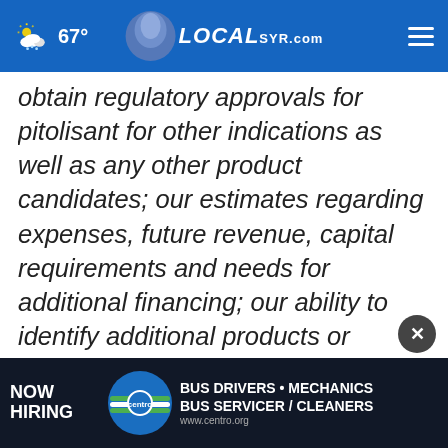LOCALsyr.com — 67° weather
obtain regulatory approvals for pitolisant for other indications as well as any other product candidates; our estimates regarding expenses, future revenue, capital requirements and needs for additional financing; our ability to identify additional products or product candidates with significant commercial potential that are consistent with our commercial objectives; our commercialization, marketing and manu[facturing...] significant competition in our industry; our
[Figure (infographic): Centro Now Hiring advertisement banner: BUS DRIVERS • MECHANICS BUS SERVICER / CLEANERS, www.centro.org]